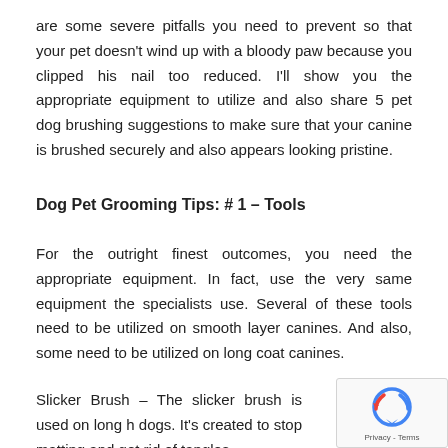are some severe pitfalls you need to prevent so that your pet doesn't wind up with a bloody paw because you clipped his nail too reduced. I'll show you the appropriate equipment to utilize and also share 5 pet dog brushing suggestions to make sure that your canine is brushed securely and also appears looking pristine.
Dog Pet Grooming Tips: # 1 – Tools
For the outright finest outcomes, you need the appropriate equipment. In fact, use the very same equipment the specialists use. Several of these tools need to be utilized on smooth layer canines. And also, some need to be utilized on long coat canines.
Slicker Brush – The slicker brush is used on long h... dogs. It's created to stop matting and get rid of tangles.